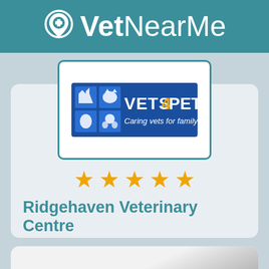VetNearMe
[Figure (logo): Vets4Pets logo — blue rectangle with animal silhouettes and text 'VETS4PETS Caring vets for family pets']
★★★★★
Ridgehaven Veterinary Centre
[Figure (photo): Partial photo visible at bottom of page, grey tones, appears to be a building or surface]